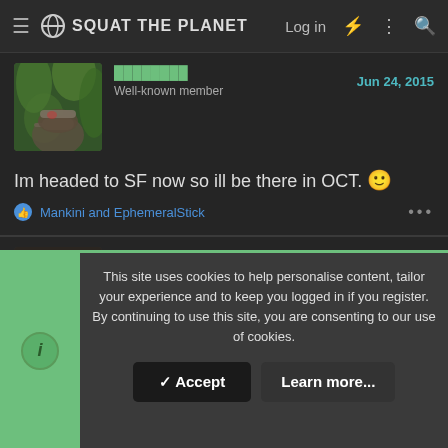Squat the Planet
[Figure (photo): User avatar photo showing person in cap among green plants]
Well-known member
Jun 24, 2015
Im headed to SF now so ill be there in OCT. 🙂
Mankini and EphemeralStick
[Figure (photo): User avatar photo with dark artistic image]
Durp
#18
Jun 25, 2015
This site uses cookies to help personalise content, tailor your experience and to keep you logged in if you register. By continuing to use this site, you are consenting to our use of cookies.